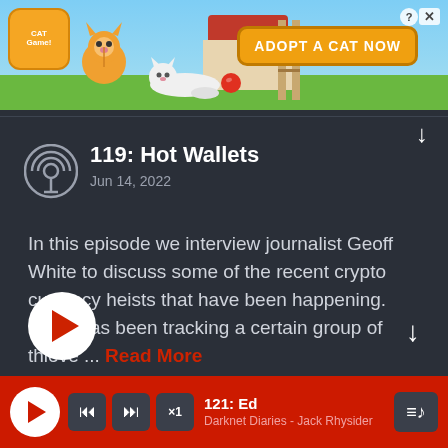[Figure (screenshot): Cat Game mobile advertisement banner showing cartoon cats with 'ADOPT A CAT NOW' button]
119: Hot Wallets
Jun 14, 2022
In this episode we interview journalist Geoff White to discuss some of the recent crypto currency heists that have been happening. Geoff has been tracking a certain group of thieve ... Read More
[Figure (screenshot): Media player bar showing episode '121: Ed' from Darknet Diaries - Jack Rhysider with playback controls]